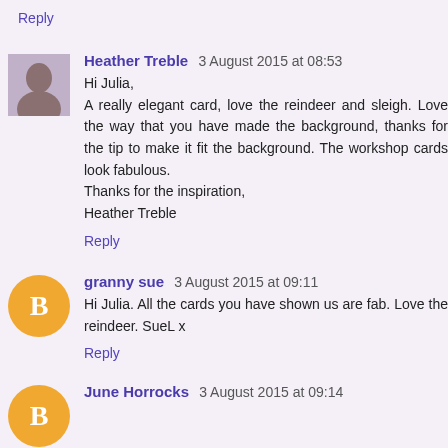Reply
Heather Treble 3 August 2015 at 08:53
Hi Julia,
A really elegant card, love the reindeer and sleigh. Love the way that you have made the background, thanks for the tip to make it fit the background. The workshop cards look fabulous.
Thanks for the inspiration,
Heather Treble
Reply
granny sue 3 August 2015 at 09:11
Hi Julia. All the cards you have shown us are fab. Love the reindeer. SueL x
Reply
June Horrocks 3 August 2015 at 09:14